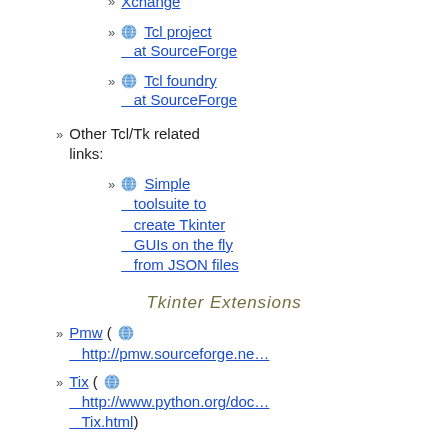Developer Xchange
Tcl project at SourceForge
Tcl foundry at SourceForge
Other Tcl/Tk related links:
Simple toolsuite to create Tkinter GUIs on the fly from JSON files
Tkinter Extensions
Pmw ( http://pmw.sourceforge.ne…
Tix ( http://www.python.org/doc…Tix.html)